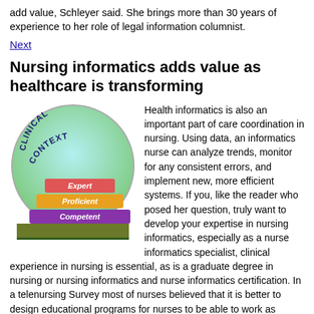add value, Schleyer said. She brings more than 30 years of experience to her role of legal information columnist.
Next
Nursing informatics adds value as healthcare is transforming
[Figure (infographic): Circular diagram labeled 'Clinical Context' at the top with five stacked horizontal bars from bottom to top: Novice (dark green), Advanced Beginner (olive/dark yellow-green), Competent (purple), Proficient (orange/yellow), Expert (red/coral pink).]
Health informatics is also an important part of care coordination in nursing. Using data, an informatics nurse can analyze trends, monitor for any consistent errors, and implement new, more efficient systems. If you, like the reader who posed her question, truly want to develop your expertise in nursing informatics, especially as a nurse informatics specialist, clinical experience in nursing is essential, as is a graduate degree in nursing or nursing informatics and nurse informatics certification. In a telenursing Survey most of nurses believed that it is better to design educational programs for nurses to be able to work as telenurse. In this regard, easy remote